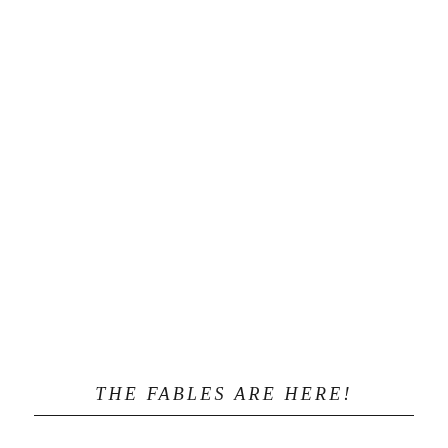[Figure (other): Scroll-to-top button UI element — a grey square button with an upward-pointing chevron arrow, positioned at the right edge of the page.]
THE FABLES ARE HERE!